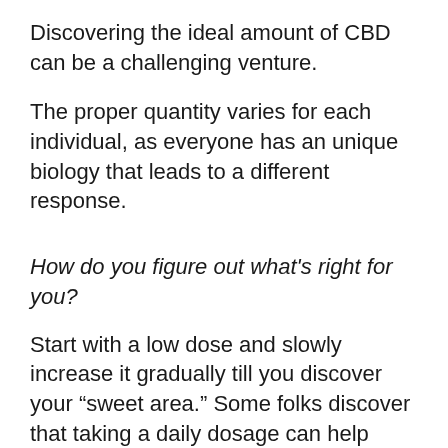Discovering the ideal amount of CBD can be a challenging venture.
The proper quantity varies for each individual, as everyone has an unique biology that leads to a different response.
How do you figure out what's right for you?
Start with a low dose and slowly increase it gradually till you discover your “sweet area.” Some folks discover that taking a daily dosage can help sustain a level of CBD in your body, which might promote your endocannabinoid system (more on what this is, listed below) to make it react more to cannabinoids like CBD.